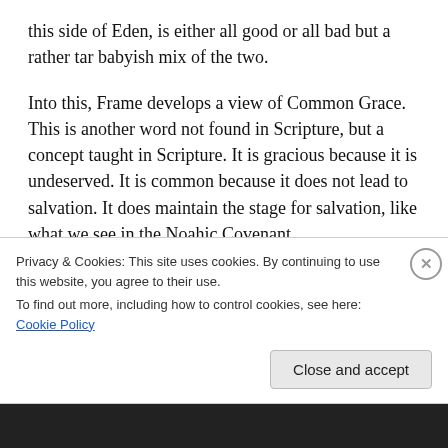this side of Eden, is either all good or all bad but a rather tar babyish mix of the two.
Into this, Frame develops a view of Common Grace. This is another word not found in Scripture, but a concept taught in Scripture. It is gracious because it is undeserved. It is common because it does not lead to salvation. It does maintain the stage for salvation, like what we see in the Noahic Covenant.
By common grace we mean that God restrains sin. He
Privacy & Cookies: This site uses cookies. By continuing to use this website, you agree to their use.
To find out more, including how to control cookies, see here: Cookie Policy